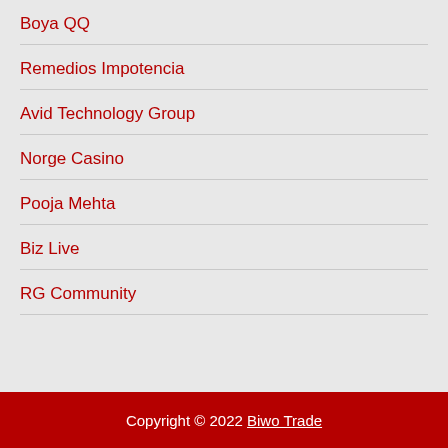Boya QQ
Remedios Impotencia
Avid Technology Group
Norge Casino
Pooja Mehta
Biz Live
RG Community
Copyright © 2022 Biwo Trade